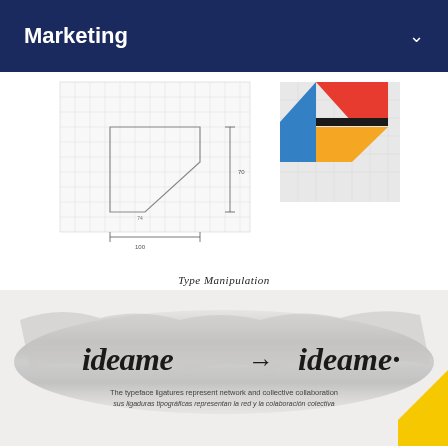Marketing
[Figure (illustration): Logo design sketches showing grid-based construction of a geometric shape mark, alongside a colored version with red, blue, and yellow geometric pieces assembled on a grid background.]
Type Manipulation
[Figure (illustration): Type manipulation design showing 'ideame → ideame·' in bold serif italic lettering over a brushed grey texture background. Below the logotype is text: 'The typeface ligatures represent network and collective collaboration / sus ligaduras tipográficas representan la red y la colaboración colectiva'.]
Close Ups
[Figure (illustration): Close-up crops of the ideame brand identity: large bold italic letterforms 'eame' in grey, a yellow/orange/red geometric mark, and a circular icon element, all cropped at the bottom of the page.]